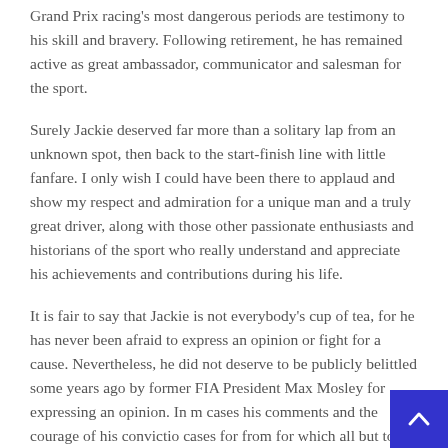Grand Prix racing's most dangerous periods are testimony to his skill and bravery. Following retirement, he has remained active as great ambassador, communicator and salesman for the sport.
Surely Jackie deserved far more than a solitary lap from an unknown spot, then back to the start-finish line with little fanfare. I only wish I could have been there to applaud and show my respect and admiration for a unique man and a truly great driver, along with those other passionate enthusiasts and historians of the sport who really understand and appreciate his achievements and contributions during his life.
It is fair to say that Jackie is not everybody's cup of tea, for he has never been afraid to express an opinion or fight for a cause. Nevertheless, he did not deserve to be publicly belittled some years ago by former FIA President Max Mosley for expressing an opinion. In m cases his comments and the courage of his convictio cases for from for which all but to come then fitted